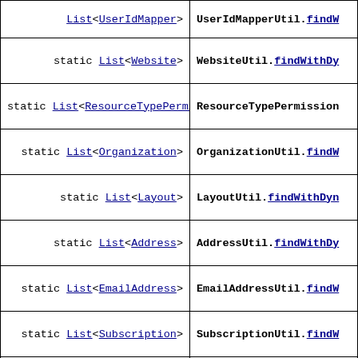| Return Type | Method |
| --- | --- |
| static List<UserIdMapper> | UserIdMapperUtil.findW... |
| static List<Website> | WebsiteUtil.findWithDy... |
| static List<ResourceTypePermission> | ResourceTypePermission... |
| static List<Organization> | OrganizationUtil.findW... |
| static List<Layout> | LayoutUtil.findWithDyn... |
| static List<Address> | AddressUtil.findWithDy... |
| static List<EmailAddress> | EmailAddressUtil.findW... |
| static List<Subscription> | SubscriptionUtil.findW... |
| static List<ResourceBlock> | ResourceBlockUtil.find... |
| static List<ClusterGroup> | ClusterGroupUtil.findW... |
| static List<LayoutPrototype> | LayoutPrototypeUtil.fi... |